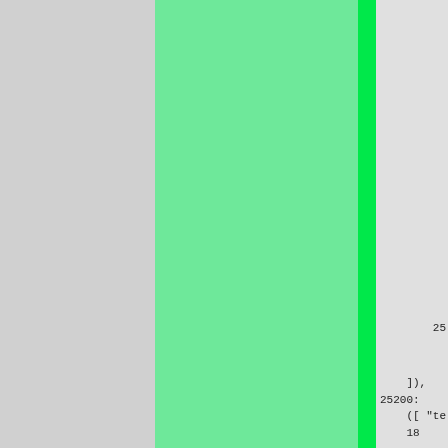[Figure (other): Page showing a light green panel and bright neon green vertical bar overlaid on a gray background, with partial code/text visible on the right edge.]
25
    ]),
25200:
    ([ "te
    180